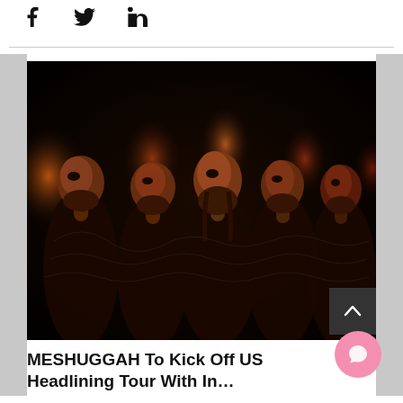Share icons: Facebook, Twitter, LinkedIn
[Figure (photo): Band photo of Meshuggah — five members standing shoulder to shoulder, dramatically lit with warm orange-red tones against a black background, wearing dark clothing with ornate patterns.]
MESHUGGAH To Kick Off US Headlining Tour With In…